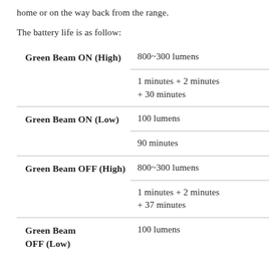home or on the way back from the range.
The battery life is as follow:
| Mode | Spec | Duration |
| --- | --- | --- |
| Green Beam ON (High) | 800~300 lumens | 1 minutes + 2 minutes + 30 minutes |
| Green Beam ON (Low) | 100 lumens | 90 minutes |
| Green Beam OFF (High) | 800~300 lumens | 1 minutes + 2 minutes + 37 minutes |
| Green Beam OFF (Low) | 100 lumens |  |